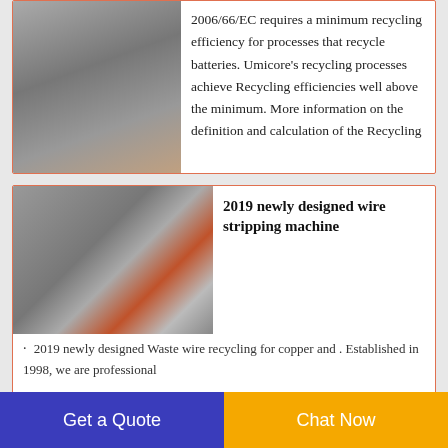[Figure (photo): Industrial recycling machine or battery recycling equipment, partially visible at top of first card.]
2006/66/EC requires a minimum recycling efficiency for processes that recycle batteries. Umicore’s recycling processes achieve Recycling efficiencies well above the minimum. More information on the definition and calculation of the Recycling
[Figure (photo): 2019 newly designed wire stripping machine in an industrial warehouse setting, showing white control cabinet, red machinery, and shredder equipment.]
2019 newly designed wire stripping machine
2019 newly designed Waste wire recycling for copper and . Established in 1998, we are professional
Get a Quote   Chat Now